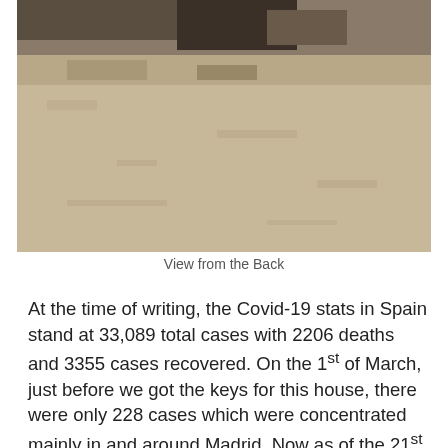[Figure (photo): A photo showing a view from the back — sandy/earthy ground with dark soil or rocks visible at the top]
View from the Back
At the time of writing, the Covid-19 stats in Spain stand at 33,089 total cases with 2206 deaths and 3355 cases recovered.  On the 1st of March, just before we got the keys for this house, there were only 228 cases which were concentrated mainly in and around Madrid.  Now as of the 21st March, there are cases in every region though Madrid continues to suffer the most. The press is full of sad stories.   A young policeman died having contracted the virus on duty.  The virus swamping a nursing home and the stream of ambulances to remove the dead captured on camera.  YouTube is full of videos of enthusiastic